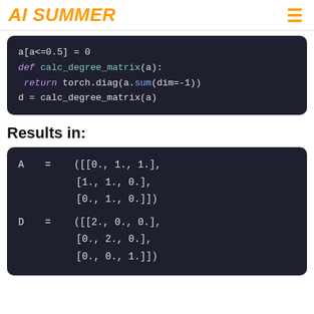AI SUMMER
[Figure (screenshot): Code block showing: a[a<=0.5] = 0, def calc_degree_matrix(a):, return torch.diag(a.sum(dim=-1)), d = calc_degree_matrix(a)]
Results in:
[Figure (screenshot): Output block showing matrix A = ([[0., 1., 1.], [1., 1., 0.], [0., 1., 0.]]) and D = ([[2., 0., 0.], [0., 2., 0.], [0., 0., 1.]])]